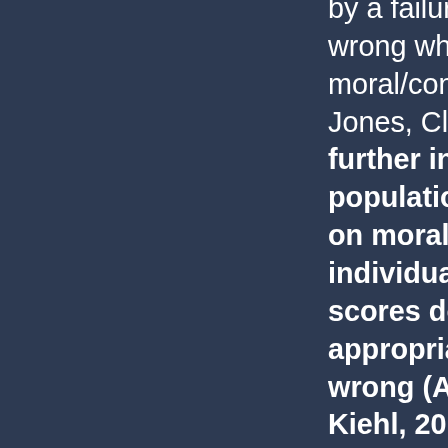by a failure to distinguish between right and wrong when tested on the classic moral/conventional transgressions task (Blair, Jones, Clark, & Smith, 1995) 2. However, further investigations with forensic populations found no effect of psychopathy on moral classification accuracy, and even individuals with very high psychopathy scores do understand moral rules and can appropriately identify actions as right and wrong (Aharoni, Sinnott-Armstrong, & Kiehl, 2014). These patterns of results support the view that psychopathic individuals know right from wrong but don't care. One study explored the influence of psychopathic traits on judgment and choice in response to hypothetical